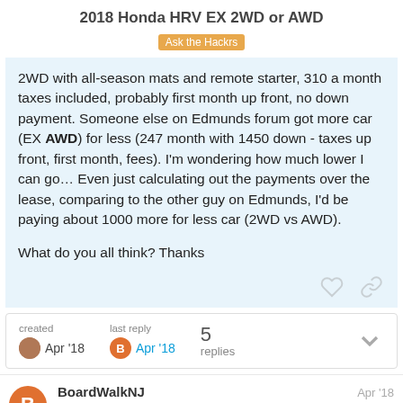2018 Honda HRV EX 2WD or AWD
Ask the Hackrs
2WD with all-season mats and remote starter, 310 a month taxes included, probably first month up front, no down payment. Someone else on Edmunds forum got more car (EX AWD) for less (247 month with 1450 down - taxes up front, first month, fees). I'm wondering how much lower I can go… Even just calculating out the payments over the lease, comparing to the other guy on Edmunds, I'd be paying about 1000 more for less car (2WD vs AWD).
What do you all think? Thanks
created Apr '18  last reply Apr '18  5 replies
BoardWalkNJ  Trusted Hackr Emeritus  Apr '18